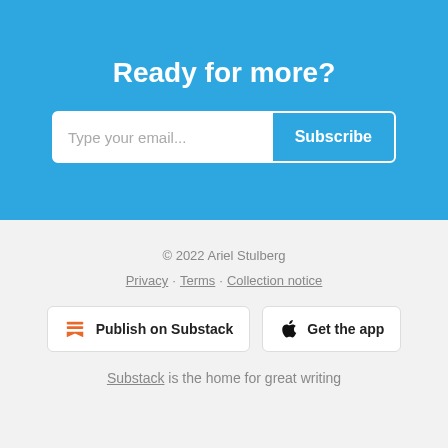Ready for more?
Type your email... Subscribe
© 2022 Ariel Stulberg
Privacy · Terms · Collection notice
Publish on Substack  Get the app
Substack is the home for great writing